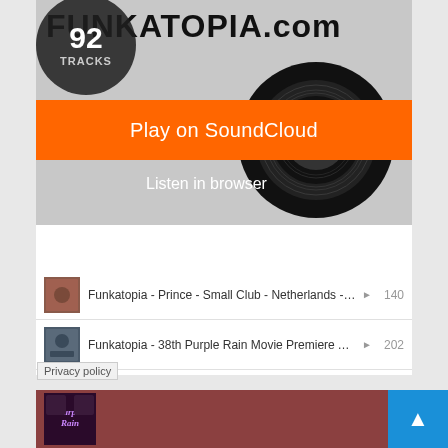[Figure (screenshot): SoundCloud widget for FUNKATOPIA.com showing 92 tracks, Play on SoundCloud button, Listen in browser option, and a list of 4 tracks with play counts]
Funkatopia - Prince - Small Club - Netherlands - Aug.... ▶ 140
Funkatopia - 38th Purple Rain Movie Premiere Anniv.... ▶ 202
Funkatopia - Interview - Mychael Gabriel ▶ 180
Funkatopia - Interview: St. Paul Peterson ▶ 212
Privacy policy
[Figure (screenshot): Purple Rain album artwork card with dark red/maroon background and Spotify icon]